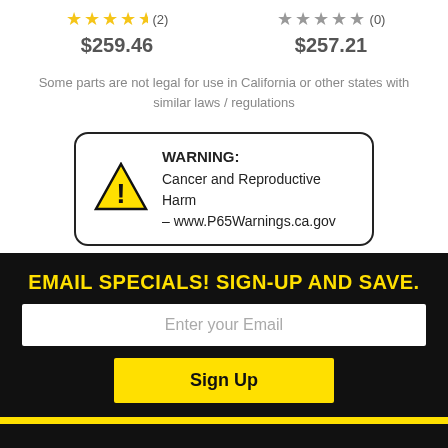[Figure (infographic): Two product ratings side by side. Left: 4.5 yellow stars, (2) reviews, price $259.46. Right: 1 gray star, (0) reviews, price $257.21.]
Some parts are not legal for use in California or other states with similar laws / regulations
[Figure (infographic): Warning box with yellow triangle exclamation icon. Text: WARNING: Cancer and Reproductive Harm – www.P65Warnings.ca.gov]
EMAIL SPECIALS! SIGN-UP AND SAVE.
Enter your Email
Sign Up